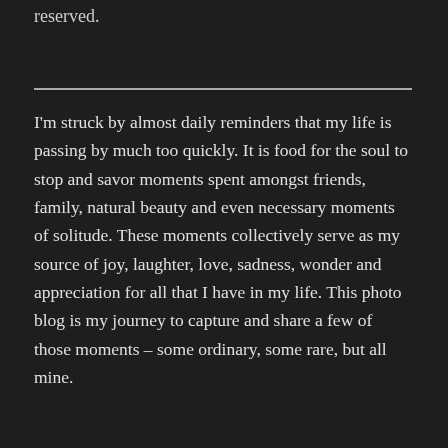reserved.
I'm struck by almost daily reminders that my life is passing by much too quickly. It is food for the soul to stop and savor moments spent amongst friends, family, natural beauty and even necessary moments of solitude. These moments collectively serve as my source of joy, laughter, love, sadness, wonder and appreciation for all that I have in my life. This photo blog is my journey to capture and share a few of those moments – some ordinary, some rare, but all mine.